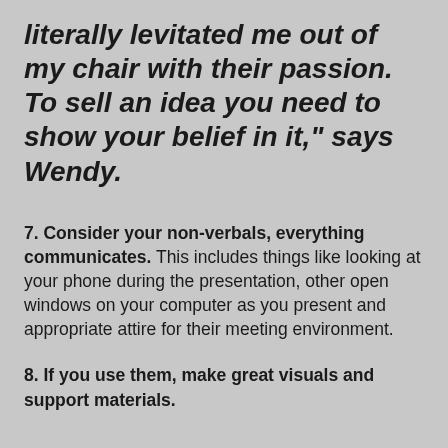literally levitated me out of my chair with their passion. To sell an idea you need to show your belief in it,” says Wendy.
7. Consider your non-verbals, everything communicates. This includes things like looking at your phone during the presentation, other open windows on your computer as you present and appropriate attire for their meeting environment.
8. If you use them, make great visuals and support materials.